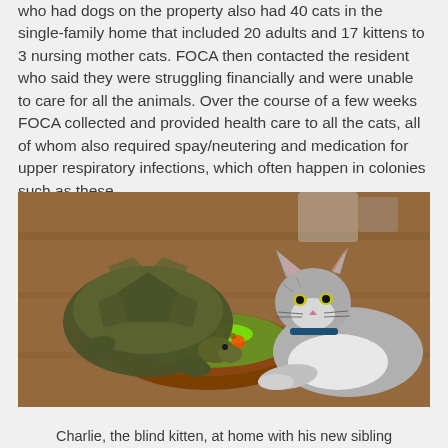who had dogs on the property also had 40 cats in the single-family home that included 20 adults and 17 kittens to 3 nursing mother cats. FOCA then contacted the resident who said they were struggling financially and were unable to care for all the animals. Over the course of a few weeks FOCA collected and provided health care to all the cats, all of whom also required spay/neutering and medication for upper respiratory infections, which often happen in colonies such as these.
[Figure (photo): A gray and white cat lying on a wooden floor next to a wooden bowl filled with vegetables and greens, with a large tortoise also eating from the bowl.]
Charlie, the blind kitten, at home with his new sibling